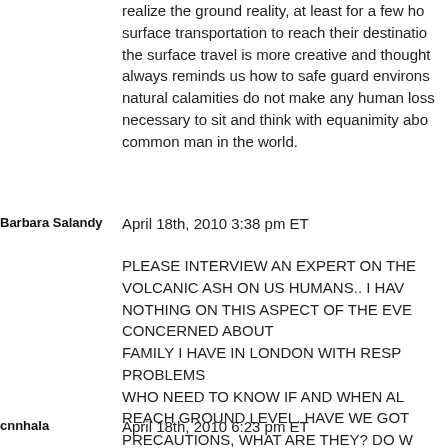realize the ground reality, at least for a few hours surface transportation to reach their destination the surface travel is more creative and thought always reminds us how to safe guard environs natural calamities do not make any human loss necessary to sit and think with equanimity abo common man in the world.
Barbara Salandy
April 18th, 2010 3:38 pm ET
PLEASE INTERVIEW AN EXPERT ON THE VOLCANIC ASH ON US HUMANS.. I HAV NOTHING ON THIS ASPECT OF THE EVE CONCERNED ABOUT FAMILY I HAVE IN LONDON WITH RESP PROBLEMS WHO NEED TO KNOW IF AND WHEN AL REACH GROUND LEVEL. HAVE WE GOT PRECAUTIONS, WHAT ARE THEY? DO W TAKE SPECIAL FOODS/DRINKS. IS THER NEED TO TAKE.? THANK YOU FOR EARL GETTING THIS IMPORTANT INFORMATIO PUBLIC...... BARBARA SALANDY, TRINID
cnnhala
April 18th, 2010 6:23 pm ET